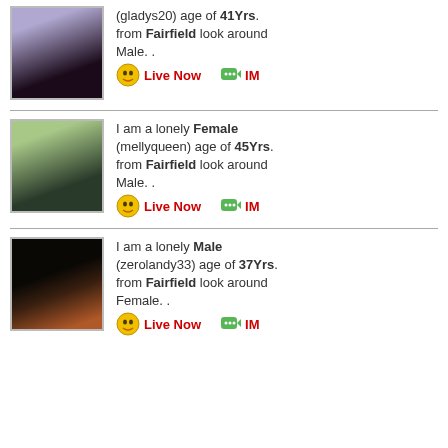(gladys20) age of 41Yrs. from Fairfield look around Male. .
Live Now | IM
I am a lonely Female (mellyqueen) age of 45Yrs. from Fairfield look around Male. .
Live Now | IM
I am a lonely Male (zerolandy33) age of 37Yrs. from Fairfield look around Female. .
Live Now | IM